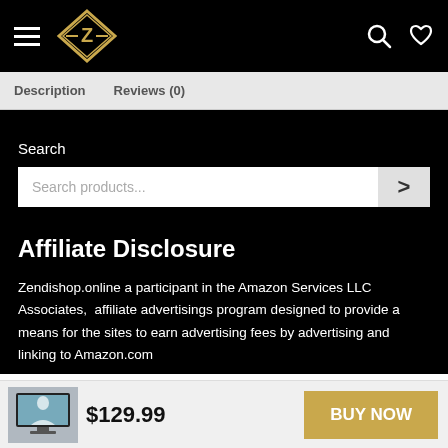Navigation bar with hamburger menu, Z logo, search icon, and heart icon
Description   Reviews (0)
Search
Search products...
Affiliate Disclosure
Zendishop.online a participant in the Amazon Services LLC Associates,  affiliate advertisings program designed to provide a means for the sites to earn advertising fees by advertising and linking to Amazon.com
$129.99  BUY NOW